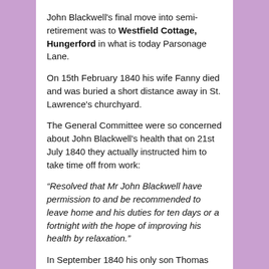John Blackwell's final move into semi-retirement was to Westfield Cottage, Hungerford in what is today Parsonage Lane.
On 15th February 1840 his wife Fanny died and was buried a short distance away in St. Lawrence's churchyard.
The General Committee were so concerned about John Blackwell's health that on 21st July 1840 they actually instructed him to take time off from work:
“Resolved that Mr John Blackwell have permission to and be recommended to leave home and his duties for ten days or a fortnight with the hope of improving his health by relaxation.”
In September 1840 his only son Thomas married Anne Buckland. The Devizes and Wiltshire Gazette of Thurs 1st October 1840 reported: “Married, on Thursday last, at St. Mary’s Church, Islington, by the Rev. John Buckland, Thomas Blackwell esq., only son of John Blackwell esq., Hungerford, to Anne, second daughter of of Charles Buckland, esq., of the former place.”
But the same edition of the Devizes and Wiltshire Gazette also printed, in the “Deaths” section, the following announcement:
“Died, on Monday last, at Westfield Cottage, Hungerford, in the 65th year of his age, after an illness of but a few hours,…